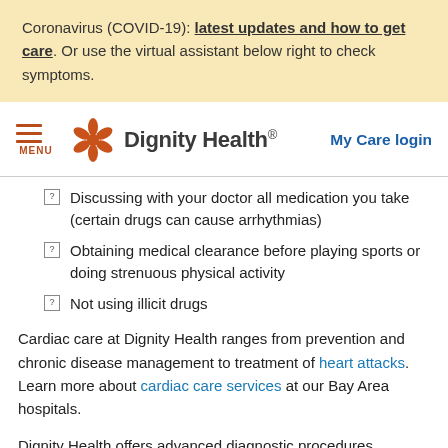Coronavirus (COVID-19): latest updates and how to get care. Or use the virtual assistant below right to check symptoms.
[Figure (logo): Dignity Health logo with stylized orange flower and hamburger menu icon on left, 'My Care login' link on right]
Discussing with your doctor all medication you take (certain drugs can cause arrhythmias)
Obtaining medical clearance before playing sports or doing strenuous physical activity
Not using illicit drugs
Cardiac care at Dignity Health ranges from prevention and chronic disease management to treatment of heart attacks. Learn more about cardiac care services at our Bay Area hospitals.
Dignity Health offers advanced diagnostic procedures